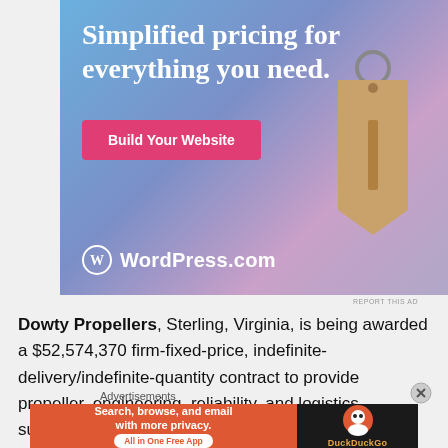[Figure (illustration): WordPress.com advertisement banner with blue-purple gradient background. Large white text reads 'Simplified pricing for everything you need.' with a pink 'Build Your Website' button and a hanging price tag image. WordPress logo and 'WordPress.com' text at bottom left.]
Dowty Propellers, Sterling, Virginia, is being awarded a $52,574,370 firm-fixed-price, indefinite-delivery/indefinite-quantity contract to provide propeller, engineering, reliability, and logistics sustainment for the R391 propeller
Advertisements
[Figure (illustration): DuckDuckGo advertisement. Left orange section: 'Search, browse, and email with more privacy. All in One Free App'. Right dark section: DuckDuckGo logo and name in orange text.]